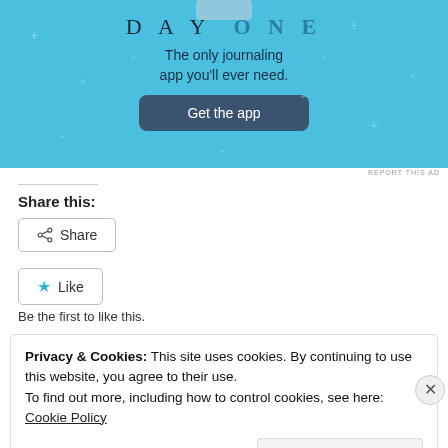[Figure (illustration): Day One journaling app advertisement banner with light blue background, DAY ONE logo, tagline 'The only journaling app you'll ever need.' and a 'Get the app' dark blue button, with star/sparkle decorations]
REPORT THIS AD
Share this:
Share
Like
Be the first to like this.
Privacy & Cookies: This site uses cookies. By continuing to use this website, you agree to their use.
To find out more, including how to control cookies, see here: Cookie Policy
Close and accept